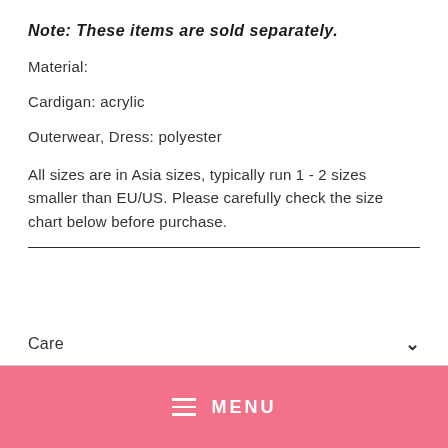Note: These items are sold separately.
Material:
Cardigan: acrylic
Outerwear, Dress: polyester
All sizes are in Asia sizes, typically run 1 - 2 sizes smaller than EU/US. Please carefully check the size chart below before purchase.
Care
MENU